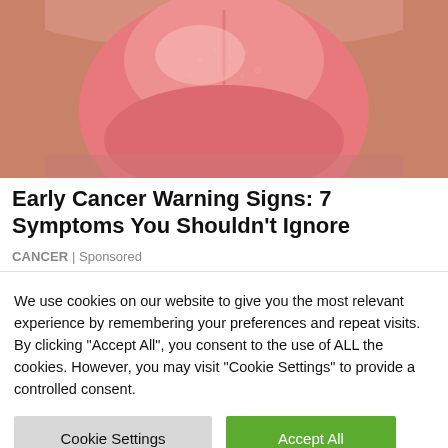[Figure (photo): Close-up photo of a human tongue extended out of a mouth, showing pink textured surface with taste buds visible]
Early Cancer Warning Signs: 7 Symptoms You Shouldn't Ignore
CANCER | Sponsored
We use cookies on our website to give you the most relevant experience by remembering your preferences and repeat visits. By clicking "Accept All", you consent to the use of ALL the cookies. However, you may visit "Cookie Settings" to provide a controlled consent.
Cookie Settings | Accept All